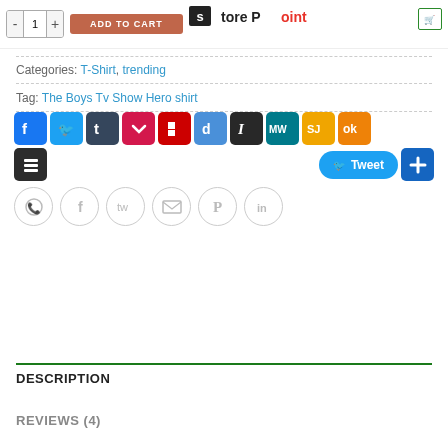[Figure (screenshot): E-commerce product page showing Store Point logo, Add to Cart button with quantity selector]
Categories: T-Shirt, trending
Tag: The Boys Tv Show Hero shirt
[Figure (infographic): Social sharing icon buttons: Facebook, Twitter, Tumblr, Pocket, Flipboard, Diigo, Instapaper, MeWe, SJ, Odnoklassniki, Buffer, Tweet button, Add button, plus circular WhatsApp, Facebook, Twitter, Email, Pinterest, LinkedIn buttons]
DESCRIPTION
REVIEWS (4)